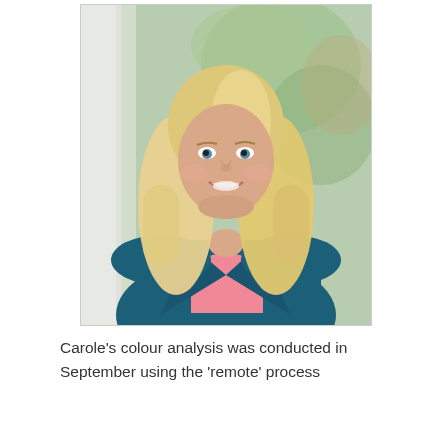[Figure (photo): Portrait photo of a woman with blonde shoulder-length hair, wearing a teal/dark blue blazer over a pink top, smiling, photographed in front of a window with a blurred green garden background.]
Carole's colour analysis was conducted in September using the 'remote' process